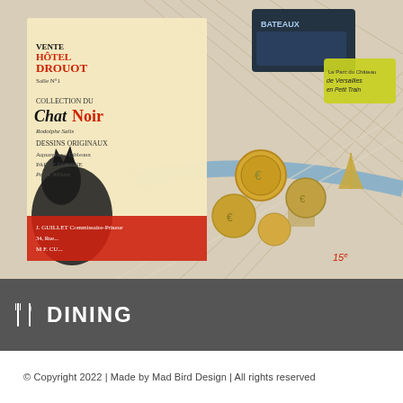[Figure (photo): A Paris street map overlaid with Euro coins, a vintage Chat Noir auction poster/brochure, a Bateaux sightseeing boat card, and a yellow Versailles Petit Train card]
🍴  DINING
© Copyright 2022 | Made by Mad Bird Design | All rights reserved